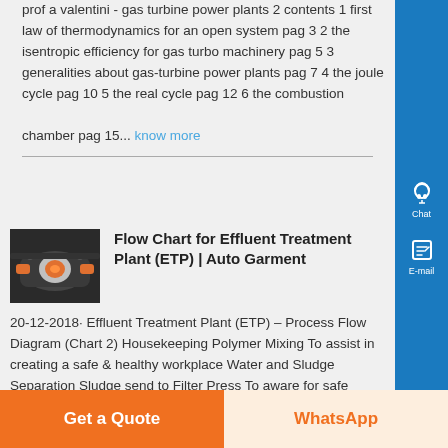prof a valentini - gas turbine power plants 2 contents 1 first law of thermodynamics for an open system pag 3 2 the isentropic efficiency for gas turbo machinery pag 5 3 generalities about gas-turbine power plants pag 7 4 the joule cycle pag 10 5 the real cycle pag 12 6 the combustion chamber pag 15... know more
[Figure (photo): Thumbnail image of a gas turbine or industrial machine component]
Flow Chart for Effluent Treatment Plant (ETP) | Auto Garment
20-12-2018· Effluent Treatment Plant (ETP) – Process Flow Diagram (Chart 2) Housekeeping Polymer Mixing To assist in creating a safe & healthy workplace Water and Sludge Separation Sludge send to Filter Press To aware for safe